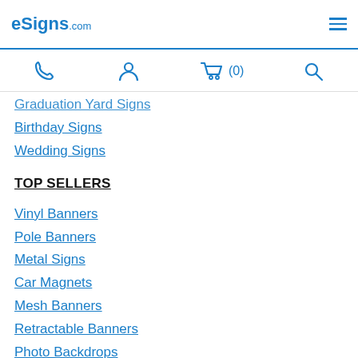eSigns.com
Graduation Yard Signs
Birthday Signs
Wedding Signs
TOP SELLERS
Vinyl Banners
Pole Banners
Metal Signs
Car Magnets
Mesh Banners
Retractable Banners
Photo Backdrops